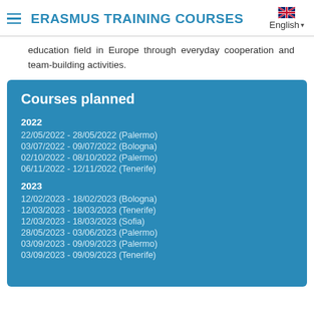ERASMUS TRAINING COURSES
education field in Europe through everyday cooperation and team-building activities.
Courses planned
2022
22/05/2022 - 28/05/2022 (Palermo)
03/07/2022 - 09/07/2022 (Bologna)
02/10/2022 - 08/10/2022 (Palermo)
06/11/2022 - 12/11/2022 (Tenerife)
2023
12/02/2023 - 18/02/2023 (Bologna)
12/03/2023 - 18/03/2023 (Tenerife)
12/03/2023 - 18/03/2023 (Sofia)
28/05/2023 - 03/06/2023 (Palermo)
03/09/2023 - 09/09/2023 (Palermo)
03/09/2023 - 09/09/2023 (Tenerife)